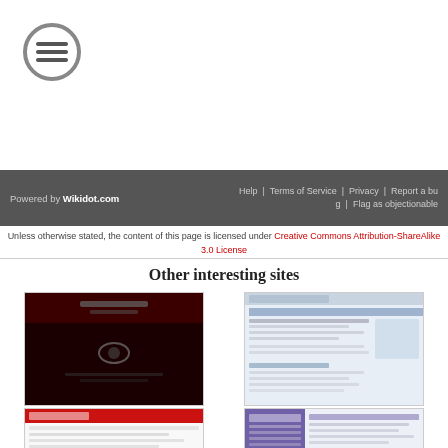[Figure (logo): Circular menu/hamburger icon with three horizontal lines inside a grey circle outline]
Powered by Wikidot.com | Help | Terms of Service | Privacy | Report a bug | Flag as objectionable
Unless otherwise stated, the content of this page is licensed under Creative Commons Attribution-ShareAlike 3.0 License
Other interesting sites
[Figure (screenshot): Odrin Sandbox website screenshot - dark red background with some text]
Odrin Sandbox
[Figure (screenshot): Game Dev Techniques website screenshot - light blue/grey interface with text and sidebar]
Game Dev Techniques
[Figure (screenshot): Potter's Army website screenshot - white background with red header and text]
Potter's Army
[Figure (screenshot): The Compendium of Kn website screenshot - purple sidebar with content and icon]
The Compendium of Kn